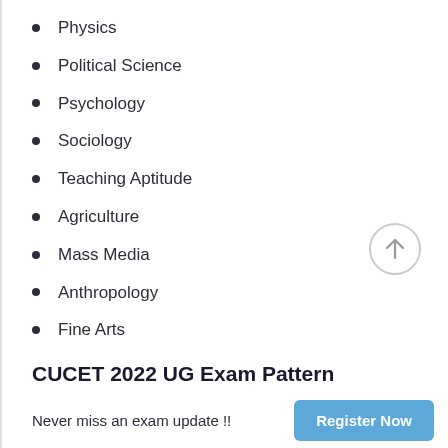Physics
Political Science
Psychology
Sociology
Teaching Aptitude
Agriculture
Mass Media
Anthropology
Fine Arts
CUCET 2022 UG Exam Pattern
CUCET 2022 will contain 4 sections
Section IA – 13 Languages
Never miss an exam update !!